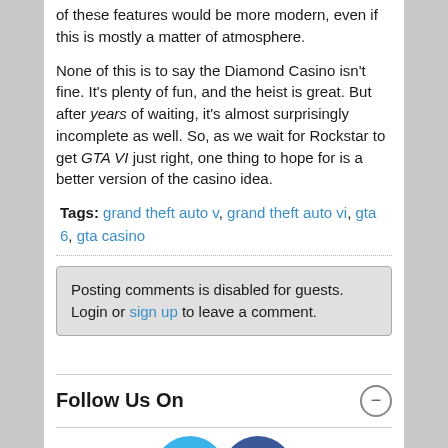of these features would be more modern, even if this is mostly a matter of atmosphere.
None of this is to say the Diamond Casino isn't fine. It's plenty of fun, and the heist is great. But after years of waiting, it's almost surprisingly incomplete as well. So, as we wait for Rockstar to get GTA VI just right, one thing to hope for is a better version of the casino idea.
Tags: grand theft auto v, grand theft auto vi, gta 6, gta casino
Posting comments is disabled for guests. Login or sign up to leave a comment.
Follow Us On
[Figure (illustration): Twitter and Facebook social media icons side by side]